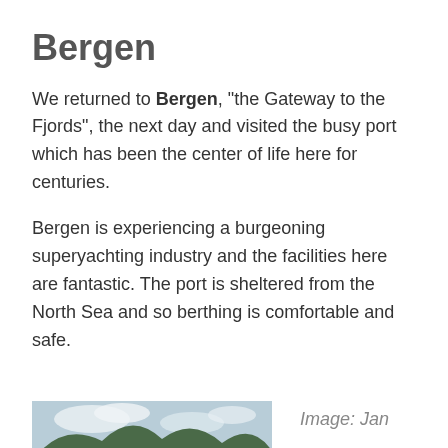Bergen
We returned to Bergen, "the Gateway to the Fjords", the next day and visited the busy port which has been the center of life here for centuries.
Bergen is experiencing a burgeoning superyachting industry and the facilities here are fantastic. The port is sheltered from the North Sea and so berthing is comfortable and safe.
[Figure (photo): Aerial photograph of Bergen, Norway, showing the city nestled between mountains and a fjord, with a distinctive peninsula visible and water surrounding it.]
Image: Jan